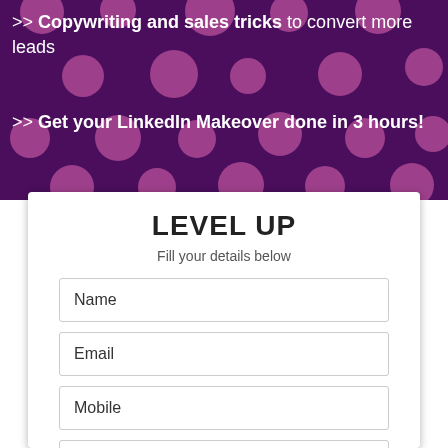>> Copywriting and sales tricks to convert more leads
>> Get your LinkedIn Makeover done in 3 hours!
LEVEL UP
Fill your details below
Name
Email
Mobile
LinkedIn